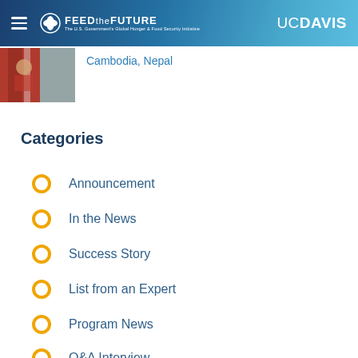FEED THE FUTURE | UC DAVIS
Cambodia, Nepal
[Figure (photo): Photo of a person in traditional red and white patterned clothing outdoors]
Categories
Announcement
In the News
Success Story
List from an Expert
Program News
Q&A Interview